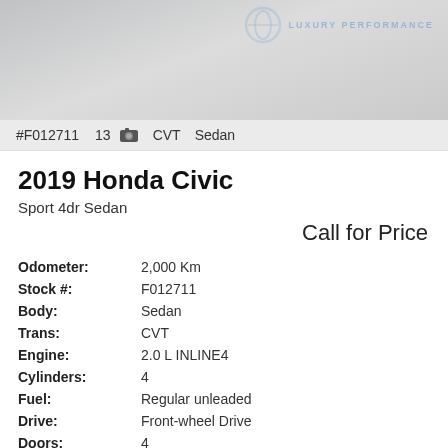[Figure (photo): Top portion of a car dealership listing page showing a gray placeholder vehicle image with a faint dealership logo in the top right corner]
#F012711   13 [camera] CVT   Sedan
2019 Honda Civic
Sport 4dr Sedan
Call for Price
| Odometer: | 2,000 Km |
| Stock #: | F012711 |
| Body: | Sedan |
| Trans: | CVT |
| Engine: | 2.0 L INLINE4 |
| Cylinders: | 4 |
| Fuel: | Regular unleaded |
| Drive: | Front-wheel Drive |
| Doors: | 4 |
| Seats: | 5 |
| Exterior: | Aegean Blue Metallic [Blue] |
| Interior: | Black w/Fabric Seating Surfaces [Black] |